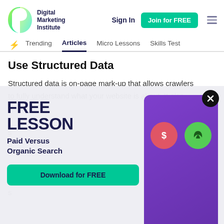Digital Marketing Institute — Sign In — Join for FREE
Trending | Articles | Micro Lessons | Skills Test
Use Structured Data
Structured data is on-page mark-up that allows crawlers to fully understand what your website is about. It also e... s... u... f... s...
[Figure (screenshot): Popup modal overlay showing 'FREE LESSON' promotion for 'Paid Versus Organic Search' with a Download for FREE button and a purple card with dollar and leaf icons.]
A... re...